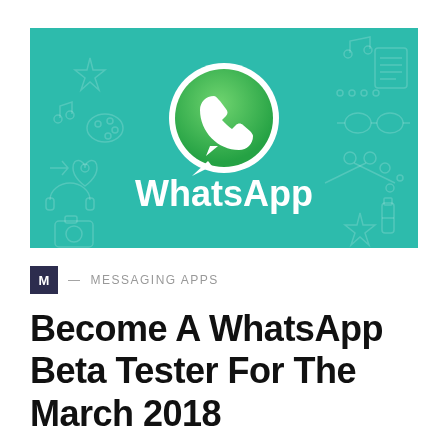[Figure (illustration): WhatsApp promotional banner on teal/green background with the WhatsApp logo (white circle with green phone handset speech bubble icon) centered, and 'WhatsApp' text in white bold letters below the logo. Background has faint outline icons of messaging/communication symbols.]
M — MESSAGING APPS
Become A WhatsApp Beta Tester For The March 2018